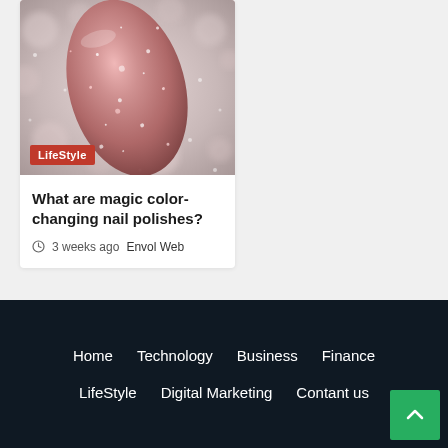[Figure (photo): Close-up photo of a glittery rose/pink nail polish with sparkles and glitter texture on a bokeh background]
LifeStyle
What are magic color-changing nail polishes?
3 weeks ago  Envol Web
Home  Technology  Business  Finance  LifeStyle  Digital Marketing  Contant us